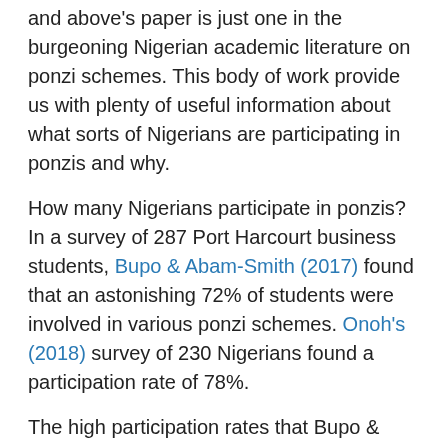and above's paper is just one in the burgeoning Nigerian academic literature on ponzi schemes. This body of work provide us with plenty of useful information about what sorts of Nigerians are participating in ponzis and why.
How many Nigerians participate in ponzis? In a survey of 287 Port Harcourt business students, Bupo & Abam-Smith (2017) found that an astonishing 72% of students were involved in various ponzi schemes. Onoh's (2018) survey of 230 Nigerians found a participation rate of 78%.
The high participation rates that Bupo & Abam-Smith and Onoh pinpoint are confirmed in a 2016 poll run by NOIPolls, an established Nigerian polling agency. After querying 1000 Nigerians, NOIPolls found that 68% of survey participants had either participated in a ponzi, or knew someone who did. I would find a 5-10% national ponzi participation rate to be mindbogglingly high. But if the above data is correct, Nigeria far exceeds this. Given a population of over 200 million, tens of millions of Nigerians have participated in ponzis.
Who are the Nigerians that are playing? In their survey of 135 ponzi investors, Jack & Ibokwe found that young...